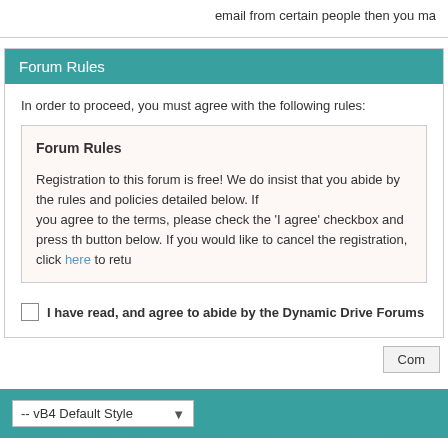email from certain people then you ma
Forum Rules
In order to proceed, you must agree with the following rules:
Forum Rules

Registration to this forum is free! We do insist that you abide by the rules and policies detailed below. If you agree to the terms, please check the 'I agree' checkbox and press the button below. If you would like to cancel the registration, click here to retu
I have read, and agree to abide by the Dynamic Drive Forums
Com
-- vB4 Default Style
All times are GMT. The time now is 09:18 PM.
Powered by vBulletin® Version 4.2.2
Copyright © 2022 vBulletin Solutions, Inc. All rights re